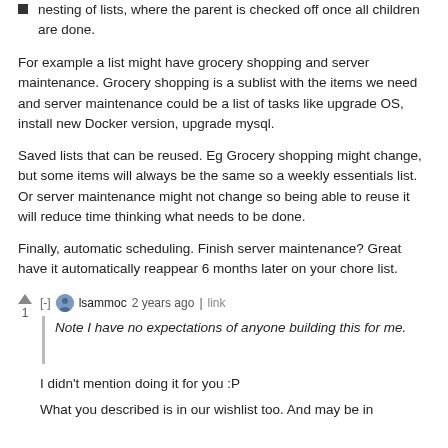nesting of lists, where the parent is checked off once all children are done.
For example a list might have grocery shopping and server maintenance. Grocery shopping is a sublist with the items we need and server maintenance could be a list of tasks like upgrade OS, install new Docker version, upgrade mysql.
Saved lists that can be reused. Eg Grocery shopping might change, but some items will always be the same so a weekly essentials list. Or server maintenance might not change so being able to reuse it will reduce time thinking what needs to be done.
Finally, automatic scheduling. Finish server maintenance? Great have it automatically reappear 6 months later on your chore list.
lsammoc 2 years ago | link
Note I have no expectations of anyone building this for me.
I didn't mention doing it for you :P
What you described is in our wishlist too. And may be in